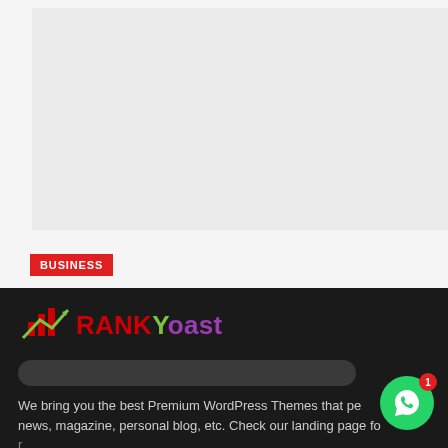[Figure (screenshot): Light gray image placeholder area at top of page]
BUSINESS
Why Choose HVAC Companies in Boston?
AUGUST 29, 2022
[Figure (logo): RANKYoast logo with red bar chart icon and green arrow, text RANK in dark red, Y in green, oast in purple]
We bring you the best Premium WordPress Themes that pe... news, magazine, personal blog, etc. Check our landing page fo...